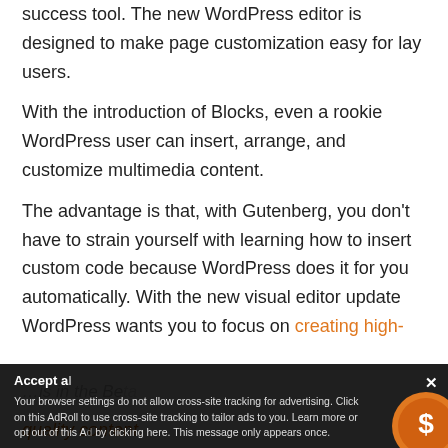success tool. The new WordPress editor is designed to make page customization easy for lay users.
With the introduction of Blocks, even a rookie WordPress user can insert, arrange, and customize multimedia content.
The advantage is that, with Gutenberg, you don't have to strain yourself with learning how to insert custom code because WordPress does it for you automatically. With the new visual editor update WordPress wants you to focus on creating high-quality content.
Your browser settings do not allow cross-site tracking for advertising. Click on this AdRoll to use cross-site tracking to tailor ads to you. Learn more or opt out of this AdRoll by clicking here. This message only appears once.